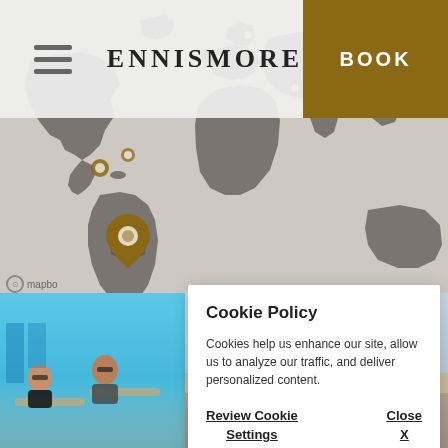[Figure (screenshot): Ennismore website header with hamburger menu on left, ENNISMORE logo in center, and brown BOOK button on right]
[Figure (map): World map with gray continents on light background, showing hotel location pins in golden/brown color. One prominent pin is located in South America (Brazil area). Additional pins visible in Caribbean/Central America and Europe regions.]
[Figure (photo): Left photo showing a couple at a pool/beach resort, right photo showing a person posing on a rooftop with city buildings in background]
Cookie Policy
Cookies help us enhance our site, allow us to analyze our traffic, and deliver personalized content.
Review Cookie Settings
Close X